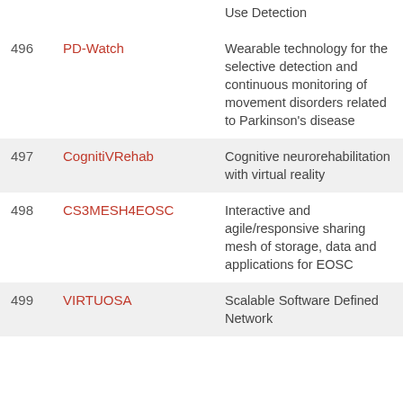| # | Project | Description |
| --- | --- | --- |
|  |  | Use Detection |
| 496 | PD-Watch | Wearable technology for the selective detection and continuous monitoring of movement disorders related to Parkinson's disease |
| 497 | CognitiVRehab | Cognitive neurorehabilitation with virtual reality |
| 498 | CS3MESH4EOSC | Interactive and agile/responsive sharing mesh of storage, data and applications for EOSC |
| 499 | VIRTUOSA | Scalable Software Defined Network |